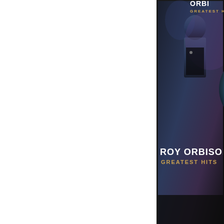[Figure (photo): Photograph of Roy Orbison Greatest Hits CD/DVD case opened, showing the front cover with 'ROY ORBISON GREATEST HITS' text in white and gold on a dark background with a person in a suit, and a disc visible on the right side with blue label reading 'ORBISON GREATEST HITS'. The image is cropped showing only the top portion of the case on a white background.]